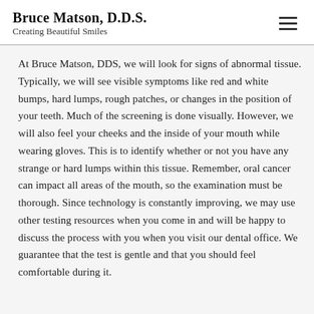Bruce Matson, D.D.S. Creating Beautiful Smiles
At Bruce Matson, DDS, we will look for signs of abnormal tissue. Typically, we will see visible symptoms like red and white bumps, hard lumps, rough patches, or changes in the position of your teeth. Much of the screening is done visually. However, we will also feel your cheeks and the inside of your mouth while wearing gloves. This is to identify whether or not you have any strange or hard lumps within this tissue. Remember, oral cancer can impact all areas of the mouth, so the examination must be thorough. Since technology is constantly improving, we may use other testing resources when you come in and will be happy to discuss the process with you when you visit our dental office. We guarantee that the test is gentle and that you should feel comfortable during it.